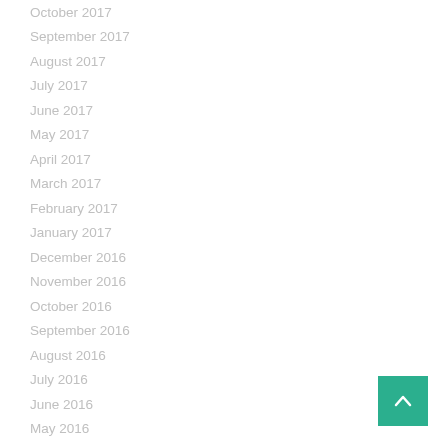October 2017
September 2017
August 2017
July 2017
June 2017
May 2017
April 2017
March 2017
February 2017
January 2017
December 2016
November 2016
October 2016
September 2016
August 2016
July 2016
June 2016
May 2016
April 2016
March 2016
February 2016
January 2016
December 2015
November 2015